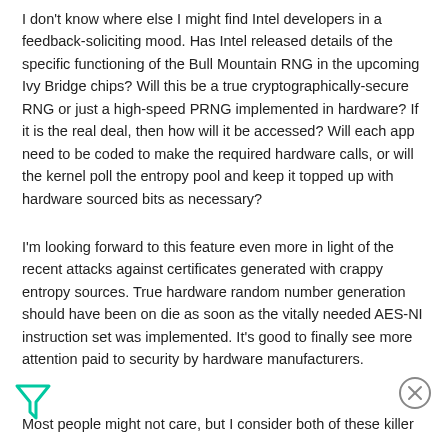I don't know where else I might find Intel developers in a feedback-soliciting mood. Has Intel released details of the specific functioning of the Bull Mountain RNG in the upcoming Ivy Bridge chips? Will this be a true cryptographically-secure RNG or just a high-speed PRNG implemented in hardware? If it is the real deal, then how will it be accessed? Will each app need to be coded to make the required hardware calls, or will the kernel poll the entropy pool and keep it topped up with hardware sourced bits as necessary?
I'm looking forward to this feature even more in light of the recent attacks against certificates generated with crappy entropy sources. True hardware random number generation should have been on die as soon as the vitally needed AES-NI instruction set was implemented. It's good to finally see more attention paid to security by hardware manufacturers.
Most people might not care, but I consider both of these killer